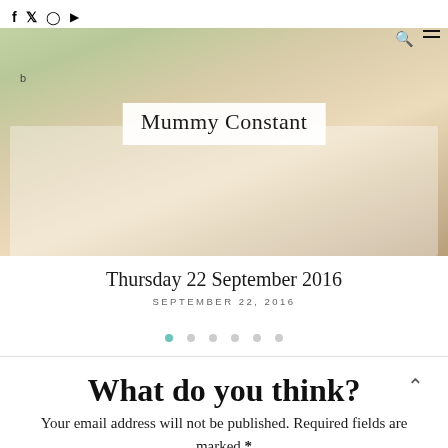f  Twitter  Instagram  YouTube  | Mummy Constant
[Figure (photo): Child's hands drawing or writing on paper with a pencil, a ruler visible, green book in background, blog title overlay reading 'Mummy Constant' in cursive font]
Thursday 22 September 2016
SEPTEMBER 22, 2016
[Figure (infographic): Pagination dots: one teal filled dot followed by five grey dots]
What do you think?
Your email address will not be published. Required fields are marked *